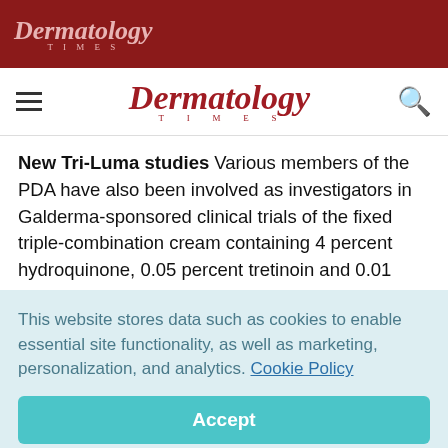Dermatology Times
Dermatology Times
New Tri-Luma studies Various members of the PDA have also been involved as investigators in Galderma-sponsored clinical trials of the fixed triple-combination cream containing 4 percent hydroquinone, 0.05 percent tretinoin and 0.01 percent fluocinolone acetonide (Tri-Luma) for the treatment of melasma.
This website stores data such as cookies to enable essential site functionality, as well as marketing, personalization, and analytics. Cookie Policy
Accept
Deny